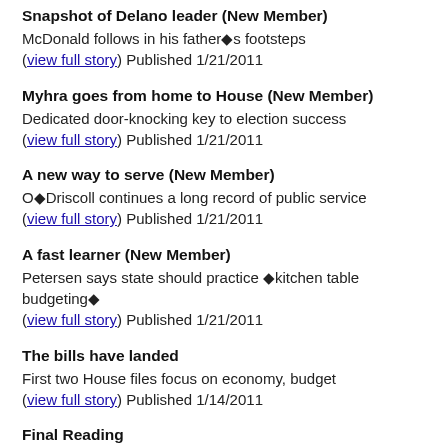Snapshot of Delano leader (New Member)
McDonald follows in his father�s footsteps
(view full story) Published 1/21/2011
Myhra goes from home to House (New Member)
Dedicated door-knocking key to election success
(view full story) Published 1/21/2011
A new way to serve (New Member)
O�Driscoll continues a long record of public service
(view full story) Published 1/21/2011
A fast learner (New Member)
Petersen says state should practice �kitchen table budgeting�
(view full story) Published 1/21/2011
The bills have landed
First two House files focus on economy, budget
(view full story) Published 1/14/2011
Final Reading
Sertich steps down